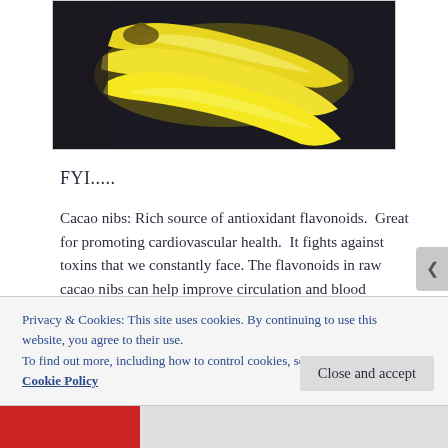[Figure (photo): Photo of yellow bananas on a dark background, cropped at the top of the page]
FYI.....
Cacao nibs: Rich source of antioxidant flavonoids.  Great for promoting cardiovascular health.  It fights against toxins that we constantly face. The flavonoids in raw cacao nibs can help improve circulation and blood pressure.  My favorite is it helps assist the body to repair and resist against free radicals; a toxin no one needs in their body.  There
Privacy & Cookies: This site uses cookies. By continuing to use this website, you agree to their use.
To find out more, including how to control cookies, see here:
Cookie Policy
Close and accept